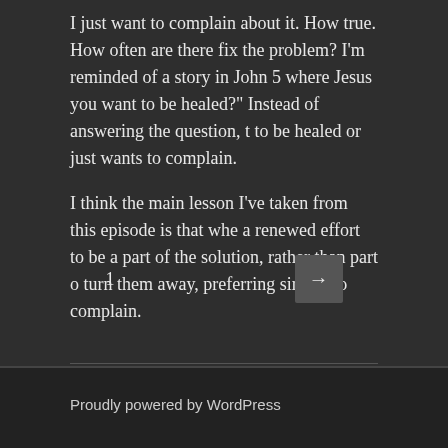I just want to complain about it. How true. How often are there fix the problem? I'm reminded of a story in John 5 where Jesus you want to be healed?" Instead of answering the question, t to be healed or just wants to complain.
I think the main lesson I've taken from this episode is that whe a renewed effort to be a part of the solution, rather than part o turn them away, preferring simply to complain.
1
[Figure (other): Next page arrow button]
Proudly powered by WordPress